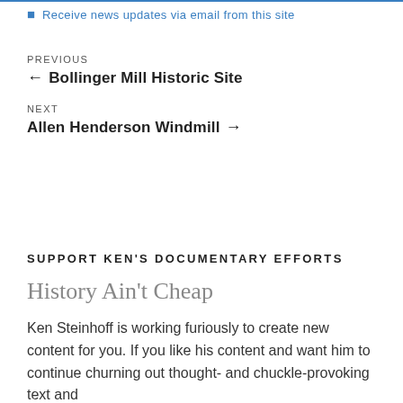Receive news updates via email from this site
PREVIOUS
← Bollinger Mill Historic Site
NEXT
Allen Henderson Windmill →
SUPPORT KEN'S DOCUMENTARY EFFORTS
History Ain't Cheap
Ken Steinhoff is working furiously to create new content for you. If you like his content and want him to continue churning out thought- and chuckle-provoking text and